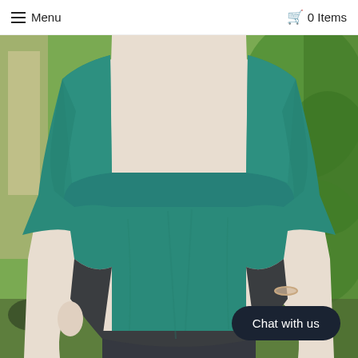Menu   0 Items
[Figure (photo): A mannequin wearing a teal/dark green layered short-sleeve top paired with a dark gray skirt. The mannequin is photographed from the neck down in front of a blurred outdoor garden background with green plants visible. The top has a distinctive layered or flap detail across the chest area.]
Chat with us